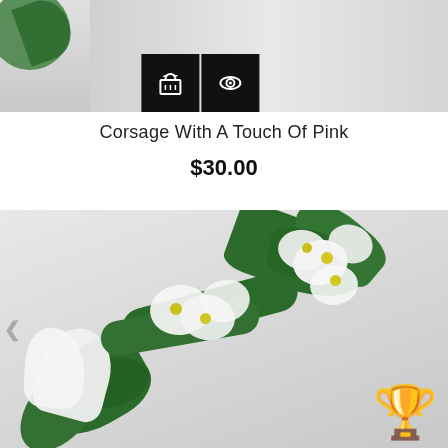[Figure (photo): Top portion of a product photo showing white flowers with green leaves and two black icon buttons (shopping basket and eye/view icon) overlaid at the bottom center]
Corsage With A Touch Of Pink
$30.00
[Figure (photo): White corsage flowers (calla lilies and orchids) with dark green leaves arranged on a light gray/white background, with a love/hearts emoji icon in the bottom right corner]